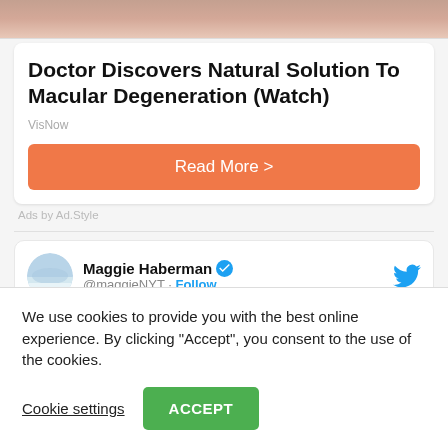[Figure (photo): Partial photo of a person's face (forehead/nose area visible) used as ad banner image]
Doctor Discovers Natural Solution To Macular Degeneration (Watch)
VisNow
Read More >
Ads by Ad.Style
Maggie Haberman @maggieNYT · Follow
Can't get over this video, both for the fact
We use cookies to provide you with the best online experience. By clicking "Accept", you consent to the use of the cookies.
Cookie settings
ACCEPT